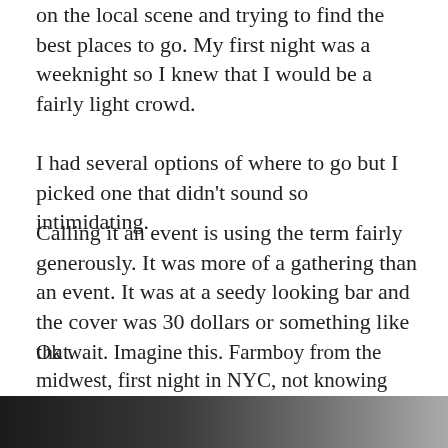on the local scene and trying to find the best places to go. My first night was a weeknight so I knew that I would be a fairly light crowd.
I had several options of where to go but I picked one that didn't sound so intimidating.
Calling it an event is using the term fairly generously. It was more of a gathering than an event. It was at a seedy looking bar and the cover was 30 dollars or something like that.
Ok wait. Imagine this. Farmboy from the midwest, first night in NYC, not knowing how to navigate the subways or even how to hail a cab, going into a BDSM club to find what has brought him here in the first place.
I walked in and (stupidly) was expecting to find this:
[Figure (photo): Dark grayscale image strip at the bottom of the page, transitioning from dark black on the left to lighter gray on the right.]